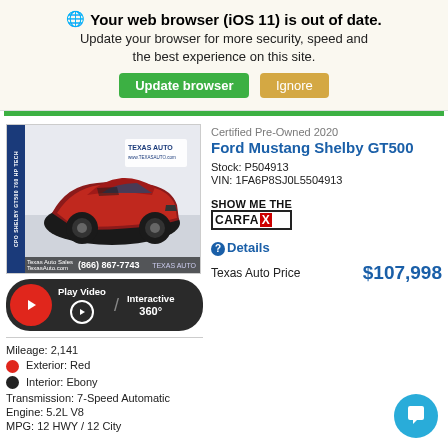🌐 Your web browser (iOS 11) is out of date. Update your browser for more security, speed and the best experience on this site. [Update browser] [Ignore]
[Figure (photo): Red Ford Mustang Shelby GT500 car image with Texas Auto logo watermark and dealership phone number overlay]
[Figure (other): Play Video and Interactive 360° button bar]
Mileage: 2,141
Exterior: Red
Interior: Ebony
Transmission: 7-Speed Automatic
Engine: 5.2L V8
MPG: 12 HWY / 12 City
Certified Pre-Owned 2020
Ford Mustang Shelby GT500
Stock: P504913
VIN: 1FA6P8SJ0L5504913
[Figure (logo): SHOW ME THE CARFAX logo]
Details
Texas Auto Price  $107,998